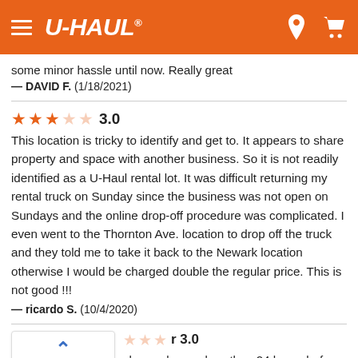U-HAUL
some minor hassle until now. Really great
— DAVID F.  (1/18/2021)
3.0 — This location is tricky to identify and get to. It appears to share property and space with another business. So it is not readily identified as a U-Haul rental lot. It was difficult returning my rental truck on Sunday since the business was not open on Sundays and the online drop-off procedure was complicated. I even went to the Thornton Ave. location to drop off the truck and they told me to take it back to the Newark location otherwise I would be charged double the regular price. This is not good !!!
— ricardo S.  (10/4/2020)
3.0 — changed on us less than 24 hours before our pick-up date and time - this was unacceptable - we were about to leave to the